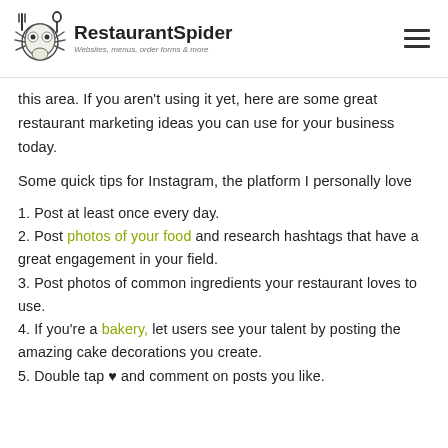RestaurantSpider — Websites, menus, order forms & more
this area. If you aren't using it yet, here are some great restaurant marketing ideas you can use for your business today.
Some quick tips for Instagram, the platform I personally love
1. Post at least once every day.
2. Post photos of your food and research hashtags that have a great engagement in your field.
3. Post photos of common ingredients your restaurant loves to use.
4. If you're a bakery, let users see your talent by posting the amazing cake decorations you create.
5. Double tap ♥ and comment on posts you like.